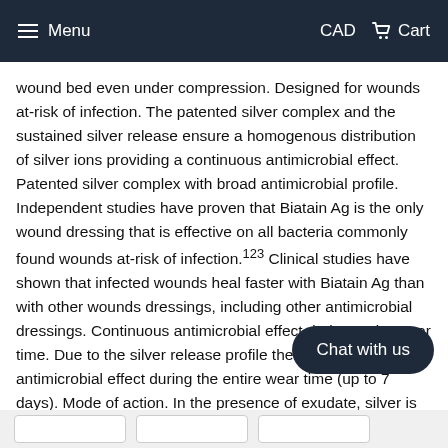Menu  CAD  Cart
wound bed even under compression. Designed for wounds at-risk of infection. The patented silver complex and the sustained silver release ensure a homogenous distribution of silver ions providing a continuous antimicrobial effect. Patented silver complex with broad antimicrobial profile. Independent studies have proven that Biatain Ag is the only wound dressing that is effective on all bacteria commonly found wounds at-risk of infection.123 Clinical studies have shown that infected wounds heal faster with Biatain Ag than with other wounds dressings, including other antimicrobial dressings. Continuous antimicrobial effect during entire wear time. Due to the silver release profile there is a continuous antimicrobial effect during the entire wear time (up to 7 days). Mode of action. In the presence of exudate, silver is continuously released into the wound bed for up to 7 days. Composition. Biatain Ag is a soft and flexible absorbent polyurethane foam that contains a patented silver complex. adhesive border.